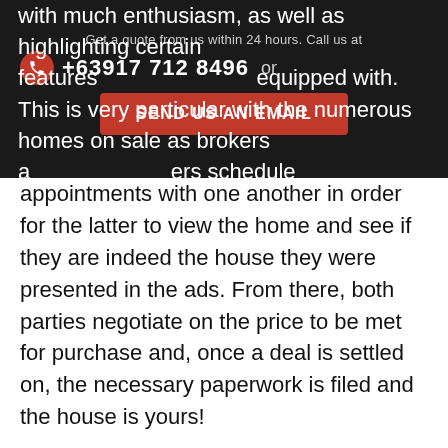[Figure (infographic): Dark banner overlay with contact information: 'Get a quote from us within 24 hours. Call us at +63917 712 8496 or' with a red phone icon and a red 'SEND US AN EMAIL' button]
with much enthusiasm, as well as highlighting certain features equipped with. This is very particular with the numerous homes on sale as brokers a ers schedule appointments with one another in order for the latter to view the home and see if they are indeed the house they were presented in the ads. From there, both parties negotiate on the price to be met for purchase and, once a deal is settled on, the necessary paperwork is filed and the house is yours!
All in all, the real estate industry can be a cutthroat world to dwell in, with the competition involved in both selling and purchasing a property; either way, with excellent marketing, advertising, and real